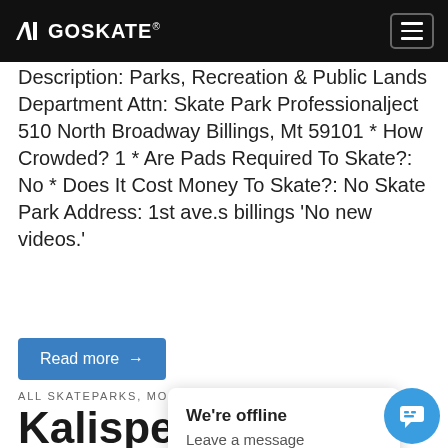GOSKATE
Description: Parks, Recreation & Public Lands Department Attn: Skate Park Professionalject 510 North Broadway Billings, Mt 59101 * How Crowded? 1 * Are Pads Required To Skate?: No * Does It Cost Money To Skate?: No Skate Park Address: 1st ave.s billings 'No new videos.'
Read more →
ALL SKATEPARKS, MONTANA
Kalispell Skateboard Park
We're offline
Leave a message